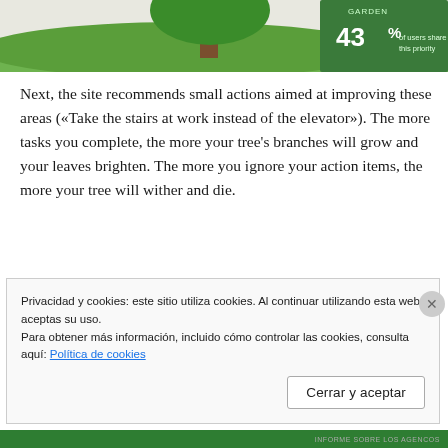[Figure (screenshot): Top portion of a webpage showing a tree illustration on a green background with a stats overlay showing '43% of users share this priority']
Next, the site recommends small actions aimed at improving these areas («Take the stairs at work instead of the elevator»). The more tasks you complete, the more your tree's branches will grow and your leaves brighten. The more you ignore your action items, the more your tree will wither and die.
Privacidad y cookies: este sitio utiliza cookies. Al continuar utilizando esta web, aceptas su uso.
Para obtener más información, incluido cómo controlar las cookies, consulta aquí: Política de cookies
Cerrar y aceptar